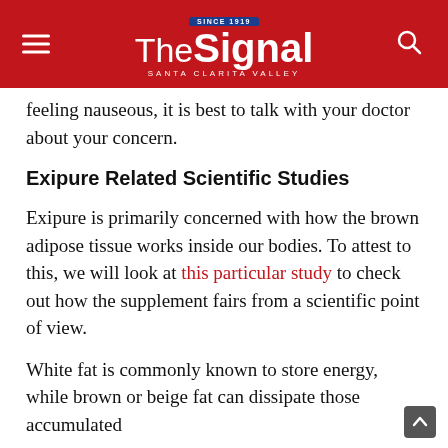The Signal — Santa Clarita Valley
feeling nauseous, it is best to talk with your doctor about your concern.
Exipure Related Scientific Studies
Exipure is primarily concerned with how the brown adipose tissue works inside our bodies. To attest to this, we will look at this particular study to check out how the supplement fairs from a scientific point of view.
White fat is commonly known to store energy, while brown or beige fat can dissipate those accumulated